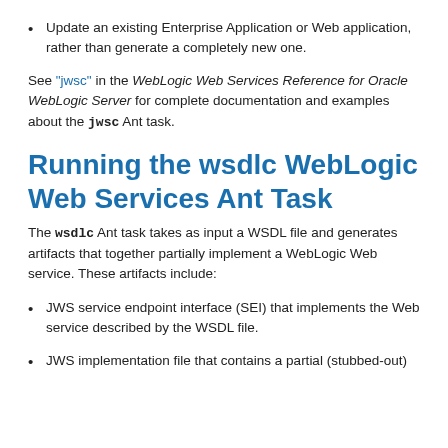Update an existing Enterprise Application or Web application, rather than generate a completely new one.
See "jwsc" in the WebLogic Web Services Reference for Oracle WebLogic Server for complete documentation and examples about the jwsc Ant task.
Running the wsdlc WebLogic Web Services Ant Task
The wsdlc Ant task takes as input a WSDL file and generates artifacts that together partially implement a WebLogic Web service. These artifacts include:
JWS service endpoint interface (SEI) that implements the Web service described by the WSDL file.
JWS implementation file that contains a partial (stubbed-out)